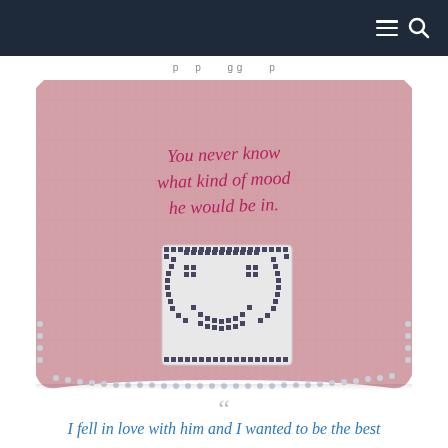navigation header with hamburger menu and search icon
p   p   g g   p
[Figure (photo): A pink linen handkerchief with red cursive embroidered text reading 'You never know what kind of mood he would be in.' and a white crocheted square patch at the bottom center depicting a face, with crocheted lace trim along the edges.]
““
I fell in love with him and I wanted to be the best